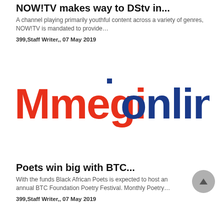NOW!TV makes way to DStv in...
A channel playing primarily youthful content across a variety of genres, NOW!TV is mandated to provide…
399,Staff Writer,, 07 May 2019
[Figure (logo): Mmegi Online logo — 'Mmegi' in red bold and 'online' in dark blue bold, large typographic logo]
Poets win big with BTC...
With the funds Black African Poets is expected to host an annual BTC Foundation Poetry Festival. Monthly Poetry…
399,Staff Writer,, 07 May 2019